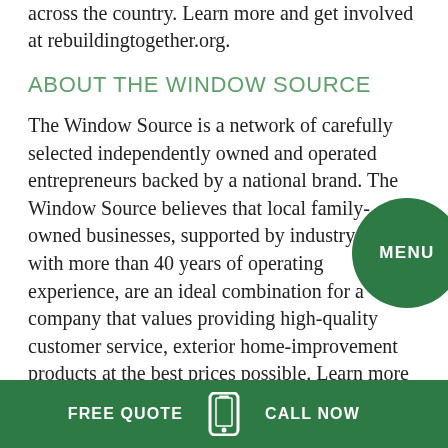across the country. Learn more and get involved at rebuildingtogether.org.
ABOUT THE WINDOW SOURCE
The Window Source is a network of carefully selected independently owned and operated entrepreneurs backed by a national brand. The Window Source believes that local family-owned businesses, supported by industry leaders with more than 40 years of operating experience, are an ideal combination for a company that values providing high-quality customer service, exterior home-improvement products at the best prices possible. Learn more about The Window Source location near you at https://thewindowsource.net/locations/
FREE QUOTE   CALL NOW